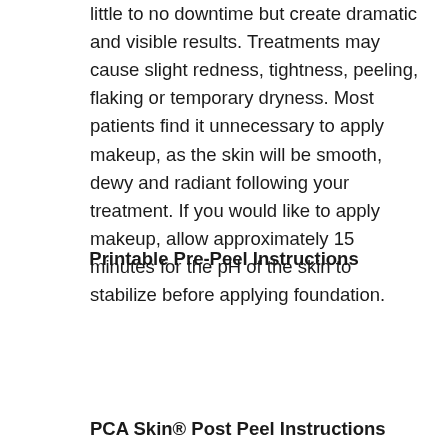little to no downtime but create dramatic and visible results. Treatments may cause slight redness, tightness, peeling, flaking or temporary dryness. Most patients find it unnecessary to apply makeup, as the skin will be smooth, dewy and radiant following your treatment. If you would like to apply makeup, allow approximately 15 minutes for the pH of the skin to stabilize before applying foundation.
Printable Pre-Peel Instructions
PCA Skin® Post Peel Instructions